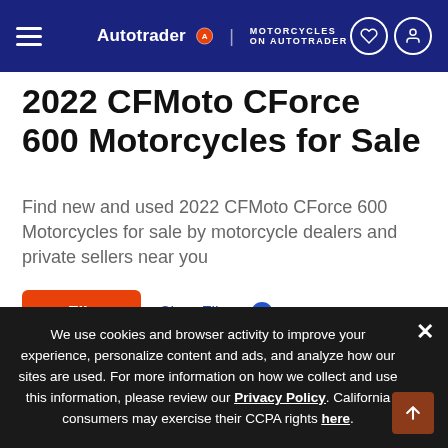Autotrader | MOTORCYCLES ON AUTOTRADER
2022 CFMoto CForce 600 Motorcycles for Sale
Find new and used 2022 CFMoto CForce 600 Motorcycles for sale by motorcycle dealers and private sellers near you
Filters | Clear Filters
Sort Results By | Show 25
We use cookies and browser activity to improve your experience, personalize content and ads, and analyze how our sites are used. For more information on how we collect and use this information, please review our Privacy Policy. California consumers may exercise their CCPA rights here.